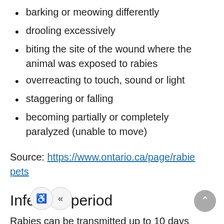barking or meowing differently
drooling excessively
biting the site of the wound where the animal was exposed to rabies
overreacting to touch, sound or light
staggering or falling
becoming partially or completely paralyzed (unable to move)
Source: https://www.ontario.ca/page/rabies-pets
Infection period
Rabies can be transmitted up to 10 days before your pet displays signs of infection; this is why veterinary staff will ask if your pet has bitten anyone and broken skin within the last 10 days as part of our